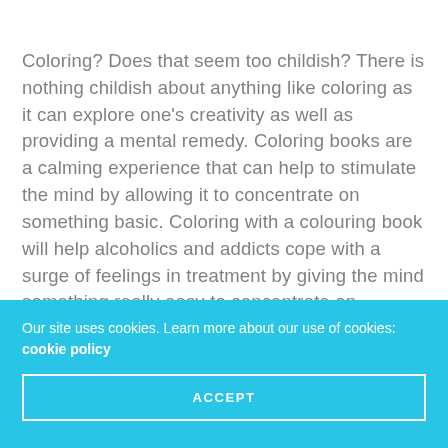Coloring? Does that seem too childish? There is nothing childish about anything like coloring as it can explore one's creativity as well as providing a mental remedy. Coloring books are a calming experience that can help to stimulate the mind by allowing it to concentrate on something basic. Coloring with a colouring book will help alcoholics and addicts cope with a surge of feelings in treatment by giving the mind something really easy to concentrate on.
Our site uses cookies. Learn more about our use of cookies: cookie policy
ACCEPT